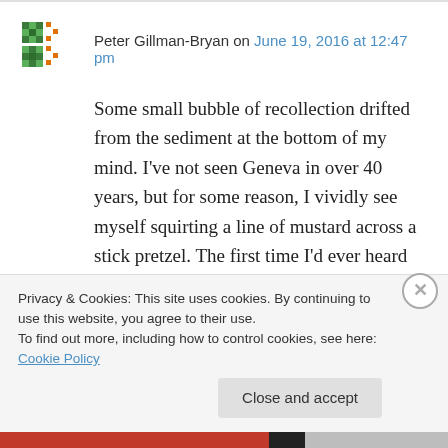Peter Gillman-Bryan on June 19, 2016 at 12:47 pm
Some small bubble of recollection drifted from the sediment at the bottom of my mind. I've not seen Geneva in over 40 years, but for some reason, I vividly see myself squirting a line of mustard across a stick pretzel. The first time I'd ever heard of, or thought of mustard on a pretzel. As long as conversation, and a reasonable number of long necks kept equal
Privacy & Cookies: This site uses cookies. By continuing to use this website, you agree to their use.
To find out more, including how to control cookies, see here: Cookie Policy
Close and accept